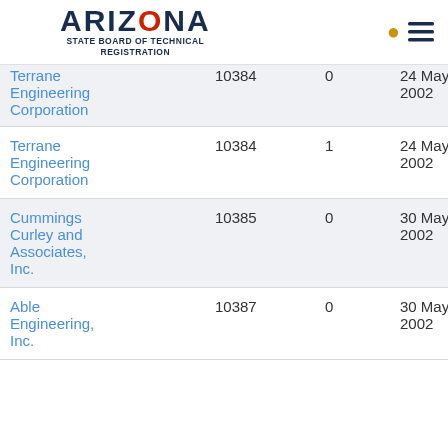ARIZONA STATE BOARD OF TECHNICAL REGISTRATION
| Name | Number | Count | Date |
| --- | --- | --- | --- |
| Terrane Engineering Corporation | 10384 | 0 | 24 May 2002 |
| Terrane Engineering Corporation | 10384 | 1 | 24 May 2002 |
| Cummings Curley and Associates, Inc. | 10385 | 0 | 30 May 2002 |
| Able Engineering, Inc. | 10387 | 0 | 30 May 2002 |